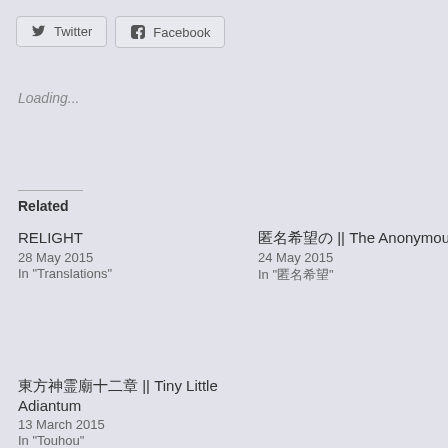[Figure (other): Twitter social share button with bird icon]
[Figure (other): Facebook social share button with f icon]
Loading...
Related
RELIGHT
28 May 2015
In "Translations"
匿名希望の || The Anonymous
24 May 2015
In "匿名希望"
東方神霊廟十二章 || Tiny Little Adiantum
13 March 2015
In "Touhou"